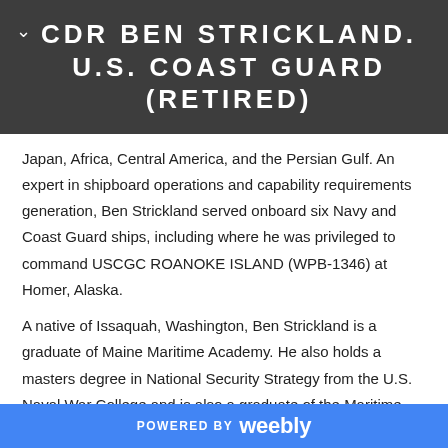CDR BEN STRICKLAND. U.S. COAST GUARD (RETIRED)
Japan, Africa, Central America, and the Persian Gulf. An expert in shipboard operations and capability requirements generation, Ben Strickland served onboard six Navy and Coast Guard ships, including where he was privileged to command USCGC ROANOKE ISLAND (WPB-1346) at Homer, Alaska.
A native of Issaquah, Washington, Ben Strickland is a graduate of Maine Maritime Academy. He also holds a masters degree in National Security Strategy from the U.S. Naval War College and is also a graduate of the Maritime Advanced Warfare School and a qualified Joint Operational Planner.
POWERED BY weebly